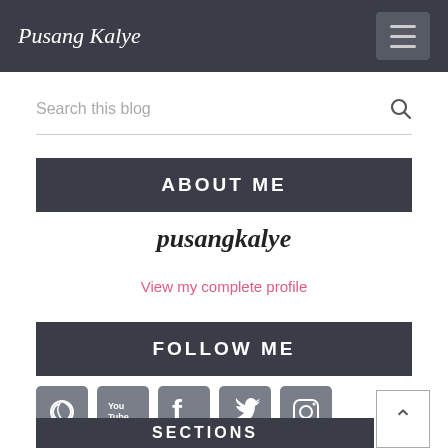Pusang Kalye
Search this blog
ABOUT ME
pusangkalye
View my complete profile
FOLLOW ME
[Figure (infographic): Five social media icon buttons: Firefox, YouTube, Facebook, Twitter, Instagram]
SECTIONS